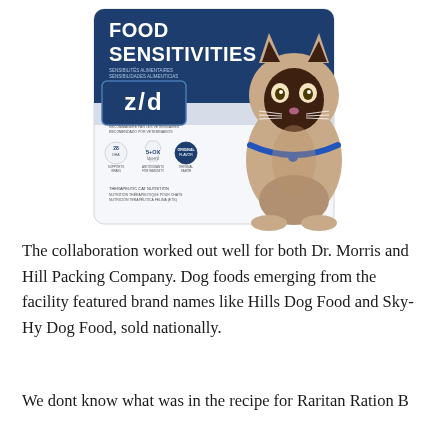[Figure (photo): Hill's z/d cat food bag for food sensitivities with a Siamese cat on the packaging. The blue and white bag reads 'FOOD SENSITIVITIES' at the top, features the z/d brand name, 'VETERINARIAN RECOMMENDED', and various icons.]
The collaboration worked out well for both Dr. Morris and Hill Packing Company. Dog foods emerging from the facility featured brand names like Hills Dog Food and Sky-Hy Dog Food, sold nationally.
We dont know what was in the recipe for Raritan Ration B